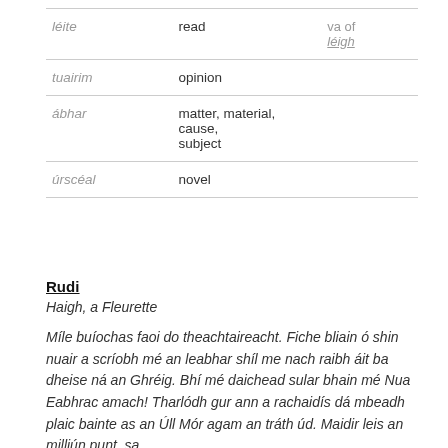|  |  |  |
| --- | --- | --- |
| léite | read | va of
léigh |
| tuairim | opinion |  |
| ábhar | matter, material, cause, subject |  |
| úrscéal | novel |  |
Rudi
Haigh, a Fleurette
Míle buíochas faoi do theachtaireacht. Fiche bliain ó shin nuair a scríobh mé an leabhar shíl me nach raibh áit ba dheise ná an Ghréig. Bhí mé daichead sular bhain mé Nua Eabhrac amach! Tharlódh gur ann a rachaidís dá mbeadh plaic bainte as an Úll Mór agam an tráth úd. Maidir leis an milliún punt, sa